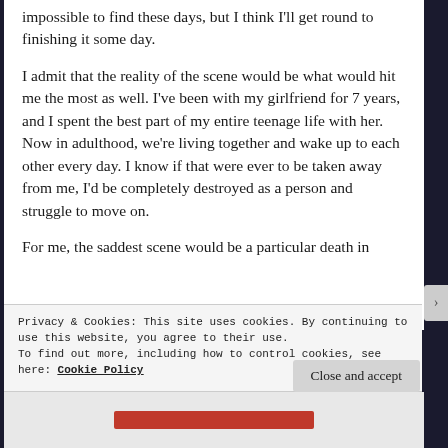impossible to find these days, but I think I'll get round to finishing it some day.
I admit that the reality of the scene would be what would hit me the most as well. I've been with my girlfriend for 7 years, and I spent the best part of my entire teenage life with her. Now in adulthood, we're living together and wake up to each other every day. I know if that were ever to be taken away from me, I'd be completely destroyed as a person and struggle to move on.
For me, the saddest scene would be a particular death in
Privacy & Cookies: This site uses cookies. By continuing to use this website, you agree to their use.
To find out more, including how to control cookies, see here: Cookie Policy